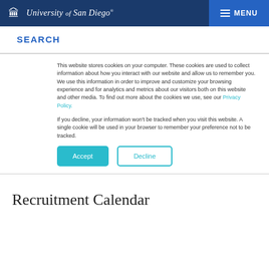University of San Diego — MENU
SEARCH
This website stores cookies on your computer. These cookies are used to collect information about how you interact with our website and allow us to remember you. We use this information in order to improve and customize your browsing experience and for analytics and metrics about our visitors both on this website and other media. To find out more about the cookies we use, see our Privacy Policy.
If you decline, your information won't be tracked when you visit this website. A single cookie will be used in your browser to remember your preference not to be tracked.
Accept / Decline
Recruitment Calendar